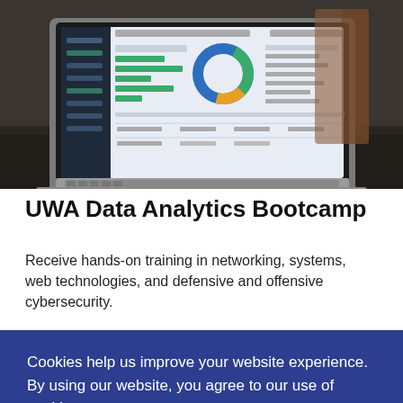[Figure (photo): Laptop computer displaying a data analytics dashboard with charts, graphs, and tables, placed on a reflective surface in an office environment.]
UWA Data Analytics Bootcamp
Receive hands-on training in networking, systems, web technologies, and defensive and offensive cybersecurity.
Cookies help us improve your website experience. By using our website, you agree to our use of cookies.
Confirm